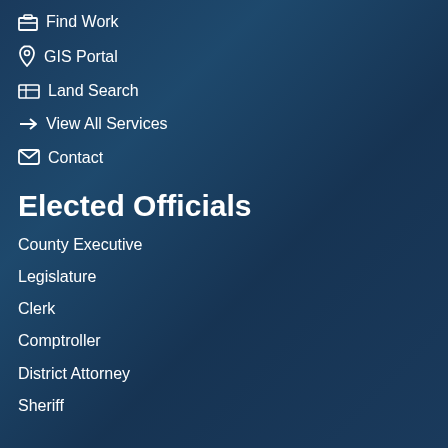Find Work
GIS Portal
Land Search
View All Services
Contact
Elected Officials
County Executive
Legislature
Clerk
Comptroller
District Attorney
Sheriff